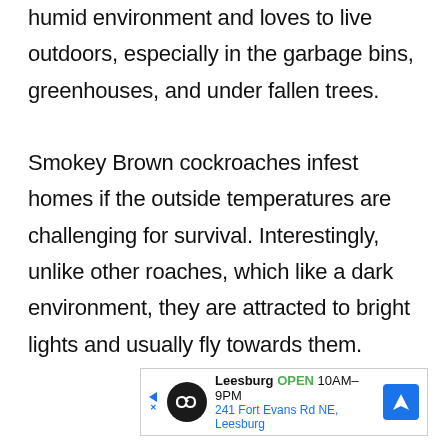humid environment and loves to live outdoors, especially in the garbage bins, greenhouses, and under fallen trees.

Smokey Brown cockroaches infest homes if the outside temperatures are challenging for survival. Interestingly, unlike other roaches, which like a dark environment, they are attracted to bright lights and usually fly towards them.
[Figure (other): Advertisement banner for Leesburg store showing logo, OPEN status, hours 10AM-9PM, address 241 Fort Evans Rd NE, Leesburg, with navigation arrow icon]